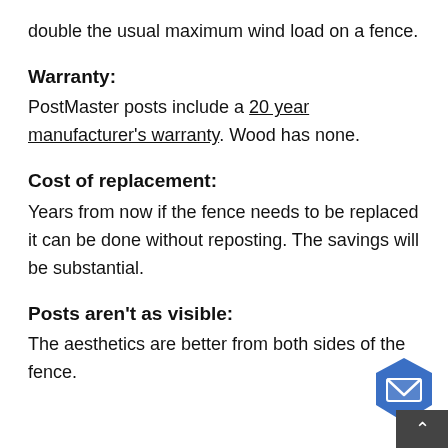double the usual maximum wind load on a fence.
Warranty:
PostMaster posts include a 20 year manufacturer's warranty. Wood has none.
Cost of replacement:
Years from now if the fence needs to be replaced it can be done without reposting. The savings will be substantial.
Posts aren't as visible:
The aesthetics are better from both sides of the fence.